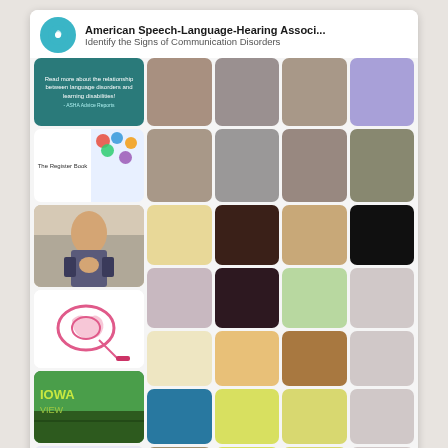American Speech-Language-Hearing Associ... — Identify the Signs of Communication Disorders
[Figure (screenshot): Pinterest board widget showing American Speech-Language-Hearing Association profile with grid of pin images and color swatches, with a Follow On Pinterest button at the bottom]
Follow On Pinterest